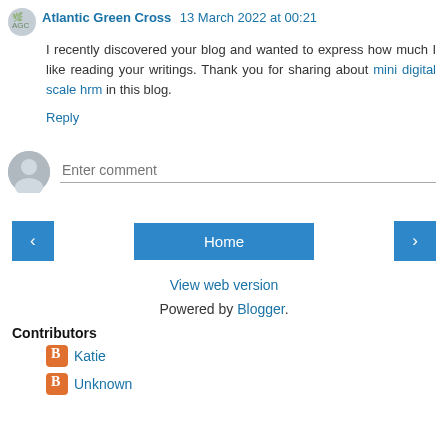Atlantic Green Cross  13 March 2022 at 00:21
I recently discovered your blog and wanted to express how much I like reading your writings. Thank you for sharing about mini digital scale hrm in this blog.
Reply
Enter comment
Home
View web version
Powered by Blogger.
Contributors
Katie
Unknown